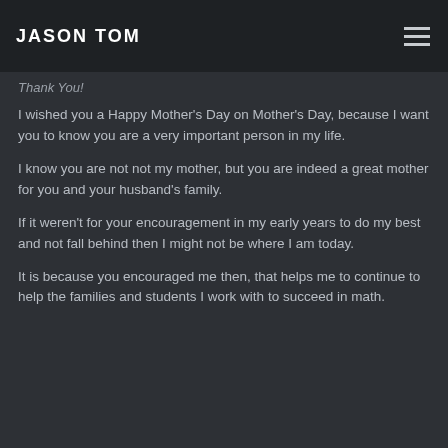JASON TOM
Thank You!
I wished you a Happy Mother's Day on Mother's Day, because I want you to know you are a very important person in my life.
I know you are not not my mother, but you are indeed a great mother for you and your husband's family.
If it weren't for your encouragement in my early years to do my best and not fall behind then I might not be where I am today.
It is because you encouraged me then, that helps me to continue to help the families and students I work with to succeed in math.